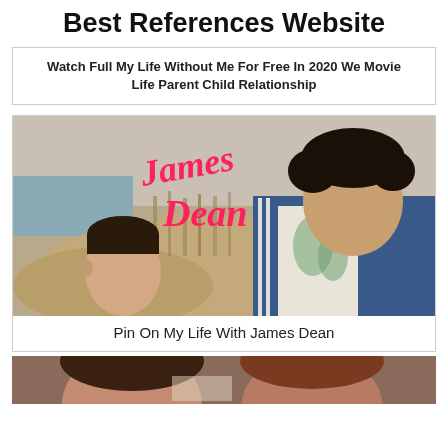Best References Website
Watch Full My Life Without Me For Free In 2020 We Movie Life Parent Child Relationship
[Figure (photo): Movie poster for 'My Life with James Dean' showing two young men, one looking up with curly dark hair wearing a blue hoodie, the other with slicked dark hair, with pink cursive text reading 'James Dean' overlaid on a beach/dune background.]
Pin On My Life With James Dean
[Figure (photo): Partial photo at bottom of page showing two people, partially cropped.]